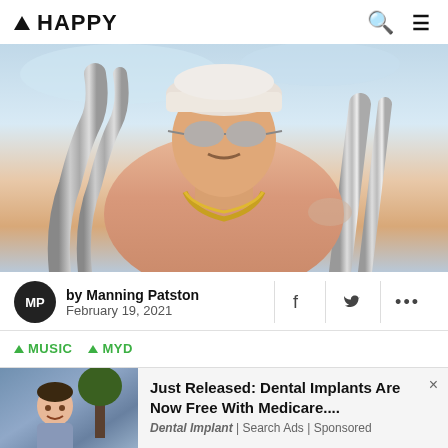▲ HAPPY
[Figure (photo): Shirtless man with white cap and sunglasses wearing a gold chain necklace, leaning on pool railings, light blue sky background]
by Manning Patston
February 19, 2021
▲ MUSIC
▲ MYD
[Figure (photo): Advertisement photo: woman smiling outdoors near trees]
Just Released: Dental Implants Are Now Free With Medicare....
Dental Implant | Search Ads | Sponsored